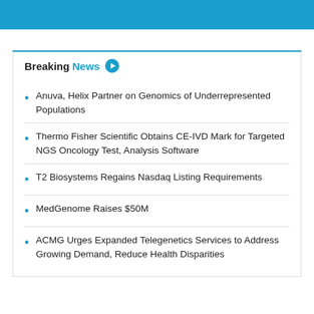Breaking News
Anuva, Helix Partner on Genomics of Underrepresented Populations
Thermo Fisher Scientific Obtains CE-IVD Mark for Targeted NGS Oncology Test, Analysis Software
T2 Biosystems Regains Nasdaq Listing Requirements
MedGenome Raises $50M
ACMG Urges Expanded Telegenetics Services to Address Growing Demand, Reduce Health Disparities